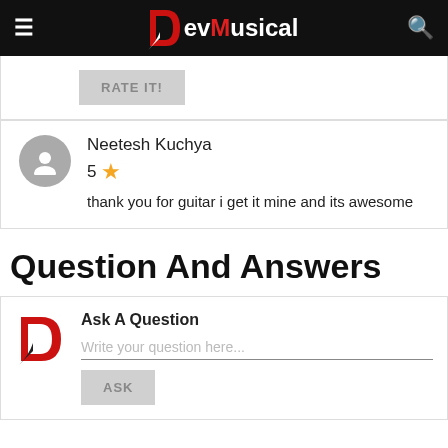DevMusical
RATE IT!
Neetesh Kuchya
5 ★
thank you for guitar i get it mine and its awesome
Question And Answers
Ask A Question
Write your question here...
ASK